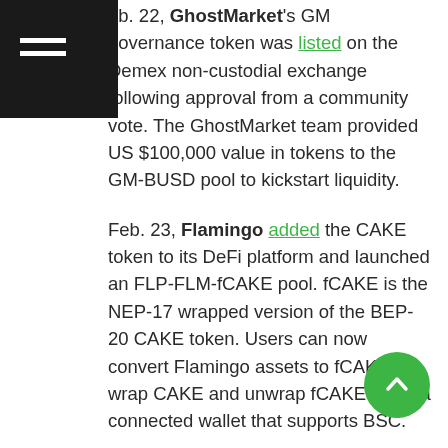Navigation menu icon (hamburger) on dark background
eb. 22, GhostMarket's GM governance token was listed on the Demex non-custodial exchange following approval from a community vote. The GhostMarket team provided US $100,000 value in tokens to the GM-BUSD pool to kickstart liquidity.
Feb. 23, Flamingo added the CAKE token to its DeFi platform and launched an FLP-FLM-fCAKE pool. fCAKE is the NEP-17 wrapped version of the BEP-20 CAKE token. Users can now convert Flamingo assets to fCAKE, or wrap CAKE and unwrap fCAKE using a connected wallet that supports BSC.